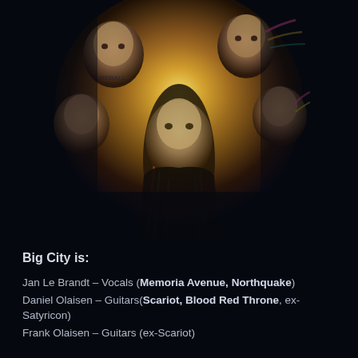[Figure (photo): Band photo of Big City members arranged with heads facing inward in a circular/star formation against a colorful warm-toned glowing background. Five people visible, central figure has long dark hair wearing black jacket.]
Big City is:
Jan Le Brandt – Vocals (Memoria Avenue, Northquake)
Daniel Olaisen – Guitars(Scariot, Blood Red Throne, ex-Satyricon)
Frank Olaisen – Guitars (ex-Scariot)